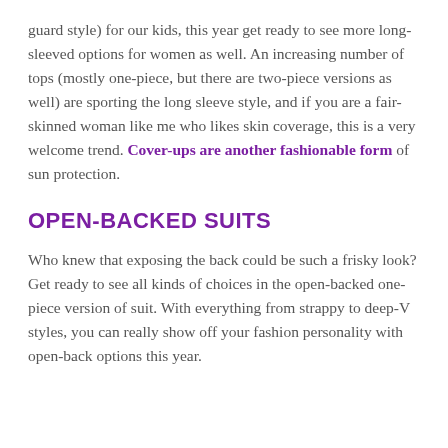guard style) for our kids, this year get ready to see more long-sleeved options for women as well. An increasing number of tops (mostly one-piece, but there are two-piece versions as well) are sporting the long sleeve style, and if you are a fair-skinned woman like me who likes skin coverage, this is a very welcome trend. Cover-ups are another fashionable form of sun protection.
OPEN-BACKED SUITS
Who knew that exposing the back could be such a frisky look? Get ready to see all kinds of choices in the open-backed one-piece version of suit. With everything from strappy to deep-V styles, you can really show off your fashion personality with open-back options this year.